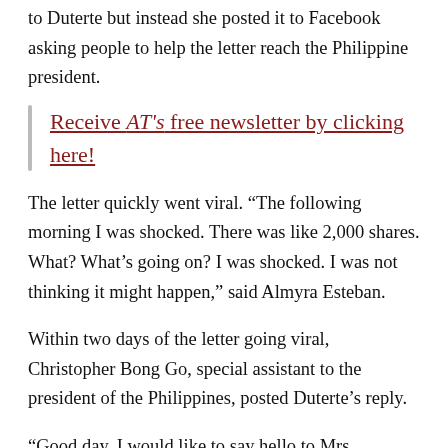to Duterte but instead she posted it to Facebook asking people to help the letter reach the Philippine president.
Receive AT's free newsletter by clicking here!
The letter quickly went viral. “The following morning I was shocked. There was like 2,000 shares. What? What’s going on? I was shocked. I was not thinking it might happen,” said Almyra Esteban.
Within two days of the letter going viral, Christopher Bong Go, special assistant to the president of the Philippines, posted Duterte’s reply.
“Good day. I would like to say hello to Mrs. Ricchiuti and her students in Fresno Adventist Academy... Especially to you Andre Esteban. Andre, I received your